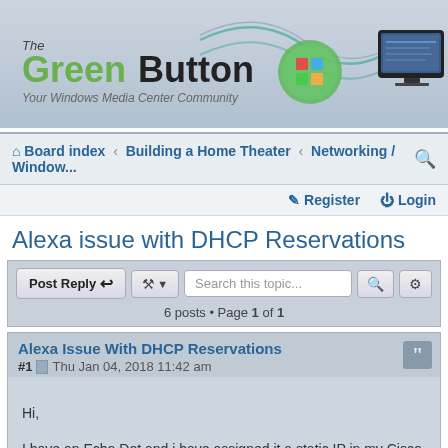[Figure (screenshot): The Green Button - Your Windows Media Center Community banner with logo and decorative graphics]
Board index · Building a Home Theater · Networking / Window...
Register  Login
Alexa issue with DHCP Reservations
Post Reply  [tools]  Search this topic...  6 posts • Page 1 of 1
Alexa Issue With DHCP Reservations
#1  Thu Jan 04, 2018 11:42 am
Hi,

I have an Echo Dot and i have assigned it a static IP in my Cisco 887 router the same way i have assigned all my other devices a static IP address. The echo will not pick up the static ip address at all yet all my